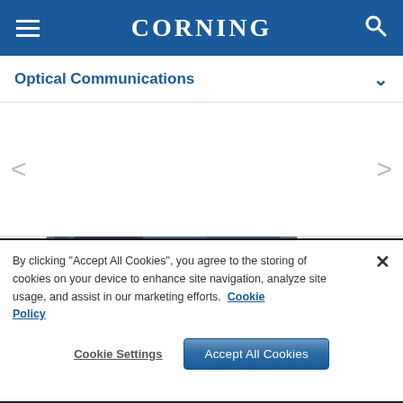CORNING
Optical Communications
[Figure (screenshot): Carousel navigation area with left and right arrow buttons]
[Figure (photo): Partial view of a dark gray/blue optical fiber spool or disk product]
By clicking "Accept All Cookies", you agree to the storing of cookies on your device to enhance site navigation, analyze site usage, and assist in our marketing efforts.  Cookie Policy
Cookie Settings    Accept All Cookies